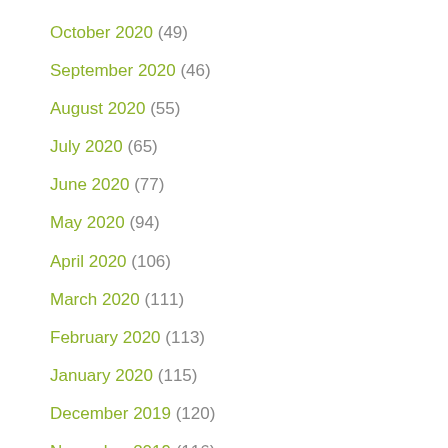October 2020 (49)
September 2020 (46)
August 2020 (55)
July 2020 (65)
June 2020 (77)
May 2020 (94)
April 2020 (106)
March 2020 (111)
February 2020 (113)
January 2020 (115)
December 2019 (120)
November 2019 (116)